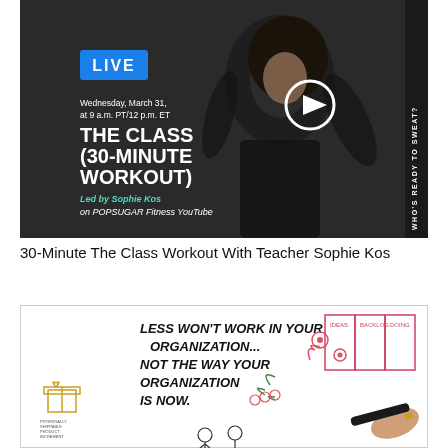[Figure (photo): A woman in black outfit dancing/posing against a dark background. Overlaid text reads: 'LIVE' in blue box, 'Wednesday, March 31, at 9 a.m. PT/12 p.m. ET', 'THE CLASS (30-MINUTE WORKOUT)', 'Led by Sophie Kos on POPSUGAR Fitness YouTube'. A white play button circle is overlaid. Right side reads vertically: 'WHO'S READY TO SWEAT?']
30-Minute The Class Workout With Teacher Sophie Kos
[Figure (illustration): A whiteboard-style illustration being drawn by a hand holding a marker. Text reads: 'LESS WON'T WORK IN YOUR ORGANIZATION... NOT THE WAY YOUR ORGANIZATION IS NOW.' with colorful drawings of flowers, a caterpillar, and a chart with three columns. Left side has a small gift icon labeled 'POTENTIALLY SHIPPABLE PRODUCT INCREMENT'.]